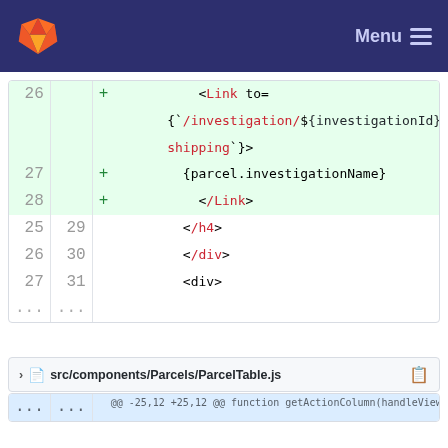GitLab logo and Menu navigation bar
[Figure (screenshot): Code diff view showing lines 26-31 of a JSX file with added lines for Link component with /investigation/${investigationId}/shipping route and parcel.investigationName content, followed by closing Link, h4, div tags and opening div tag. Lines ... shown at end.]
src/components/Parcels/ParcelTable.js
[Figure (screenshot): Code diff view of ParcelTable.js showing hunk @@ -25,12 +25,12 @@ function getActionColumn(handleView) {, context lines 25-27 with }}, >, and <Glyphicon glyph="eye-open" style={{ marginRight: 5 }} />, then deleted line 28 showing View]